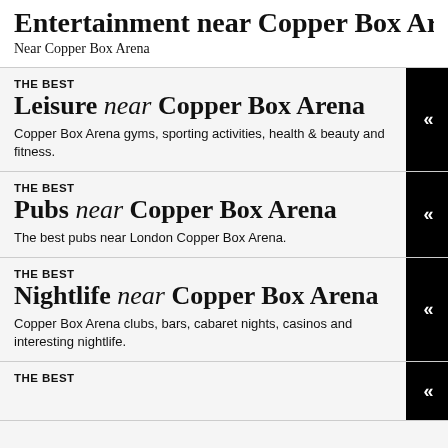Near Copper Box Arena
THE BEST Leisure near Copper Box Arena
Copper Box Arena gyms, sporting activities, health & beauty and fitness.
THE BEST Pubs near Copper Box Arena
The best pubs near London Copper Box Arena.
THE BEST Nightlife near Copper Box Arena
Copper Box Arena clubs, bars, cabaret nights, casinos and interesting nightlife.
THE BEST